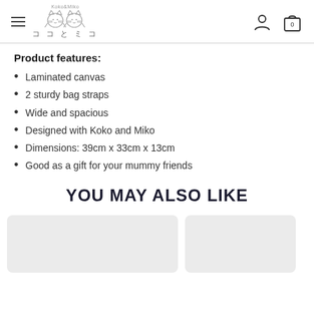Koko & Miko — navigation header with hamburger menu, logo, user icon, and cart (0)
Product features:
Laminated canvas
2 sturdy bag straps
Wide and spacious
Designed with Koko and Miko
Dimensions: 39cm x 33cm x 13cm
Good as a gift for your mummy friends
YOU MAY ALSO LIKE
[Figure (other): Two product image placeholder cards, partially visible]